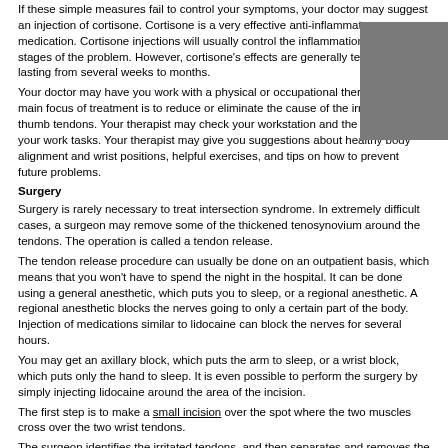If these simple measures fail to control your symptoms, your doctor may suggest an injection of cortisone. Cortisone is a very effective anti-inflammatory medication. Cortisone injections will usually control the inflammation in the early stages of the problem. However, cortisone's effects are generally temporary, lasting from several weeks to months.
Your doctor may have you work with a physical or occupational therapist. The main focus of treatment is to reduce or eliminate the cause of the irritation to the thumb tendons. Your therapist may check your workstation and the way you do your work tasks. Your therapist may give you suggestions about healthy body alignment and wrist positions, helpful exercises, and tips on how to prevent future problems.
Surgery
Surgery is rarely necessary to treat intersection syndrome. In extremely difficult cases, a surgeon may remove some of the thickened tenosynovium around the tendons. The operation is called a tendon release.
The tendon release procedure can usually be done on an outpatient basis, which means that you won't have to spend the night in the hospital. It can be done using a general anesthetic, which puts you to sleep, or a regional anesthetic. A regional anesthetic blocks the nerves going to only a certain part of the body. Injection of medications similar to lidocaine can block the nerves for several hours.
You may get an axillary block, which puts the arm to sleep, or a wrist block, which puts only the hand to sleep. It is even possible to perform the surgery by simply injecting lidocaine around the area of the incision.
The first step is to make a small incision over the spot where the two muscles cross over the two wrist tendons.
The surgeon identifies the irritated tendons, and then separates and removes the inflamed tenosynovium from the tendons.
The skin is then stitched together, and your hand is wrapped in a bulky dressing.
Rehabilitation
What can I expect after treatment?
Nonsurgical Rehabilitation
If nonsurgical treatment is successful, you may see improvement in four to six weeks. You may need to continue wearing your thumb splint to control symptoms. Try to do your activities using healthy body and wrist alignment. Limit activities that require repeated motions of the wrist and